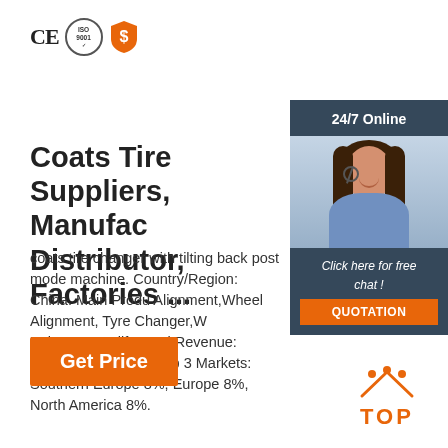[Figure (logo): CE certification mark, ISO 9001 certification circle, and orange dollar shield icon]
[Figure (photo): 24/7 Online chat panel with woman wearing headset, Click here for free chat link, and QUOTATION button on dark blue-grey background]
Coats Tire Suppliers, Manufacturer, Distributor, Factories ...
coats tire changer with tilting back post mode machine. Country/Region: China. Main Products: Alignment,Wheel Alignment, Tyre Changer,Wheel Balancer,Car lift. Total Revenue: US$50 Million. Top 3 Markets: Southern Europe 8%, Europe 8%, North America 8%.
[Figure (other): Orange Get Price button]
[Figure (logo): Orange TOP logo with dots above letters]